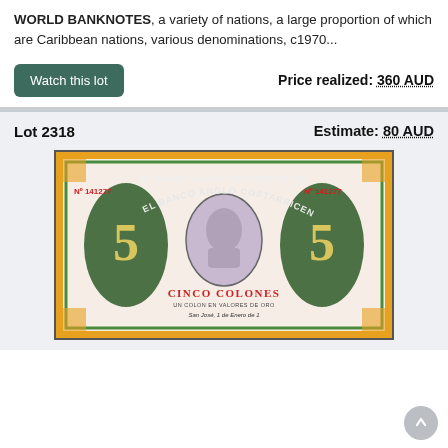WORLD BANKNOTES, a variety of nations, a large proportion of which are Caribbean nations, various denominations, c1970...
Watch this lot
Price realized: 360 AUD
Lot 2318
Estimate: 80 AUD
[Figure (photo): El Banco Anglo Costarricense banknote, Cinco Colones, serial number 141277, ornate design with portrait in center]